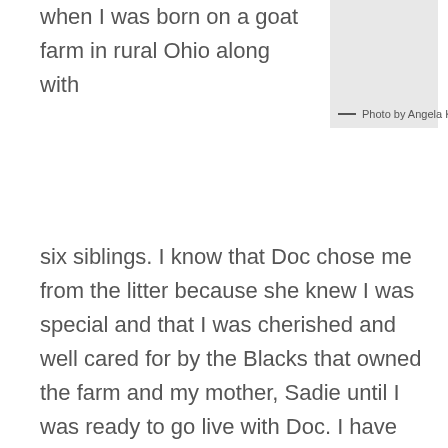when I was born on a goat farm in rural Ohio along with
— Photo by Angela Kirk
six siblings. I know that Doc chose me from the litter because she knew I was special and that I was cherished and well cared for by the Blacks that owned the farm and my mother, Sadie until I was ready to go live with Doc. I have heard that story over and over and it has re-enforced that I have been loved and wanted my entire life. Now imagine just for a moment that 7 years later I find out it was all a lie, that the truth was that I was found abandoned with my siblings on the side of a road thrown away like a bag of trash. How would that change the way I feel about myself, learning that everything I had